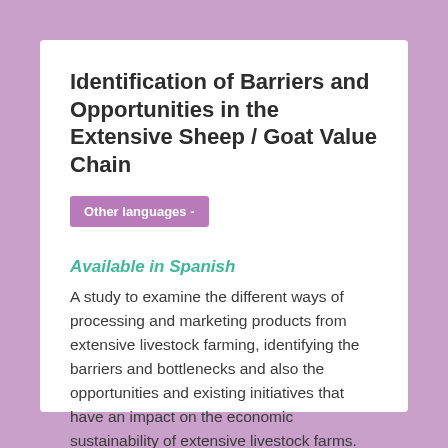Identification of Barriers and Opportunities in the Extensive Sheep / Goat Value Chain
Other languages -
Available in Spanish
A study to examine the different ways of processing and marketing products from extensive livestock farming, identifying the barriers and bottlenecks and also the opportunities and existing initiatives that have an impact on the economic sustainability of extensive livestock farms.